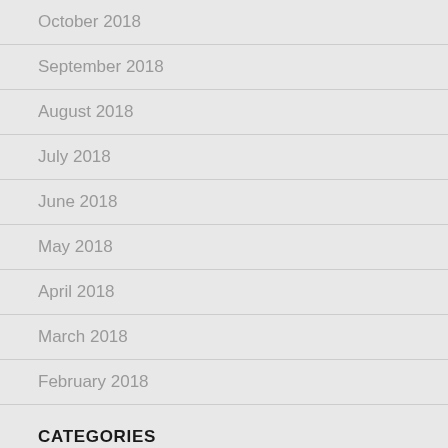October 2018
September 2018
August 2018
July 2018
June 2018
May 2018
April 2018
March 2018
February 2018
CATEGORIES
Automatic Car